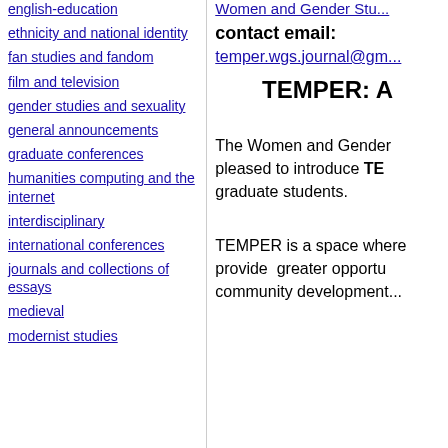english-education
ethnicity and national identity
fan studies and fandom
film and television
gender studies and sexuality
general announcements
graduate conferences
humanities computing and the internet
interdisciplinary
international conferences
journals and collections of essays
medieval
modernist studies
Women and Gender Stu...
contact email:
temper.wgs.journal@gm...
TEMPER: A
The Women and Gender pleased to introduce TEMPER graduate students.
TEMPER is a space where provide  greater opportu community development...